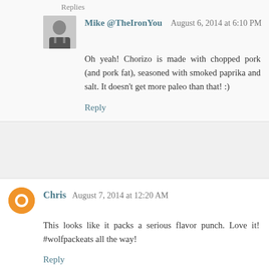Replies
Mike @TheIronYou    August 6, 2014 at 6:10 PM
Oh yeah! Chorizo is made with chopped pork (and pork fat), seasoned with smoked paprika and salt. It doesn't get more paleo than that! :)
Reply
Chris   August 7, 2014 at 12:20 AM
This looks like it packs a serious flavor punch. Love it! #wolfpackeats all the way!
Reply